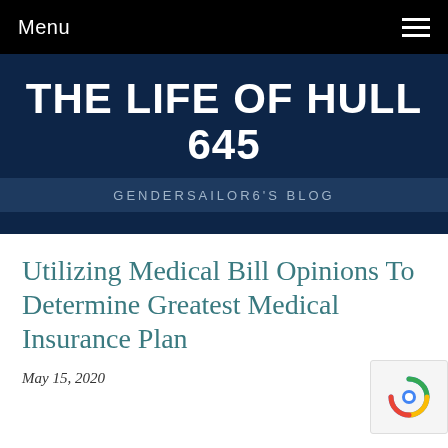Menu
THE LIFE OF HULL 645
GENDERSAILOR6'S BLOG
Utilizing Medical Bill Opinions To Determine Greatest Medical Insurance Plan
May 15, 2020